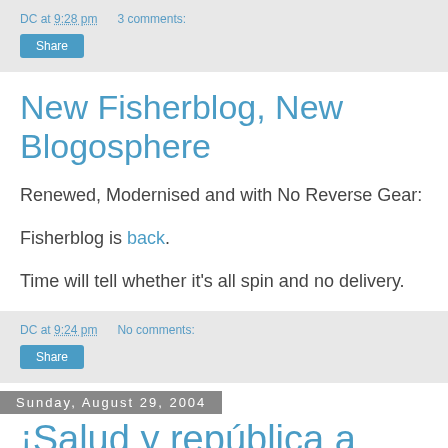DC at 9:28 pm  3 comments:
Share
New Fisherblog, New Blogosphere
Renewed, Modernised and with No Reverse Gear:
Fisherblog is back.
Time will tell whether it's all spin and no delivery.
DC at 9:24 pm  No comments:
Share
Sunday, August 29, 2004
¡Salud y república a todos!